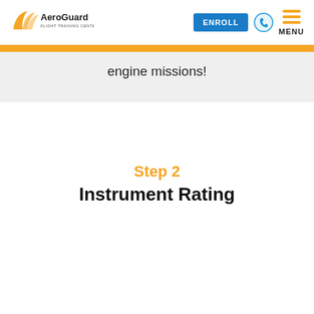AeroGuard Flight Training Center — ENROLL | MENU
engine missions!
Step 2
Instrument Rating